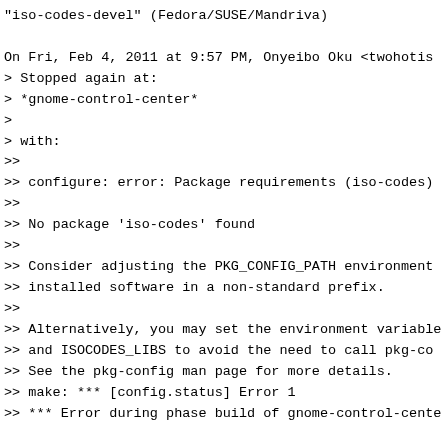"iso-codes-devel" (Fedora/SUSE/Mandriva)

On Fri, Feb 4, 2011 at 9:57 PM, Onyeibo Oku <twohotis
> Stopped again at:
> *gnome-control-center*
>
> with:
>>
>> configure: error: Package requirements (iso-codes)
>>
>> No package 'iso-codes' found
>>
>> Consider adjusting the PKG_CONFIG_PATH environment
>> installed software in a non-standard prefix.
>>
>> Alternatively, you may set the environment variable
>> and ISOCODES_LIBS to avoid the need to call pkg-co
>> See the pkg-config man page for more details.
>> make: *** [config.status] Error 1
>> *** Error during phase build of gnome-control-cente